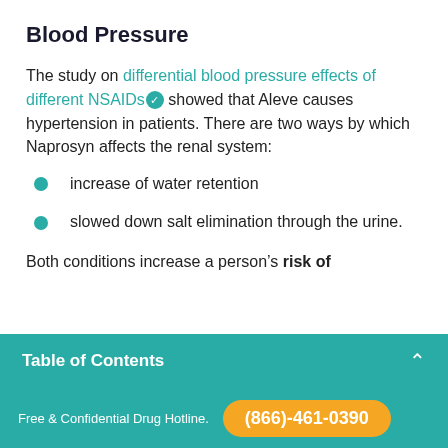Blood Pressure
The study on differential blood pressure effects of different NSAIDs showed that Aleve causes hypertension in patients. There are two ways by which Naprosyn affects the renal system:
increase of water retention
slowed down salt elimination through the urine.
Both conditions increase a person’s risk of
Table of Contents
Free & Confidential Drug Hotline. (866)-461-0390